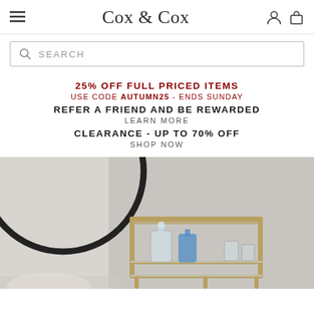Cox & Cox
SEARCH
25% OFF FULL PRICED ITEMS
USE CODE AUTUMN25 - ENDS SUNDAY
REFER A FRIEND AND BE REWARDED
LEARN MORE
CLEARANCE - UP TO 70% OFF
SHOP NOW
[Figure (photo): Interior lifestyle photo showing a gold bar cart with glass decanters and bottles, in front of a round mirror on a grey wall]